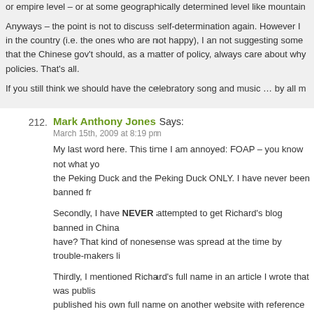raised the question at what level of granularity should self-determination b... or empire level – or at some geographically determined level like mountain...
Anyways – the point is not to discuss self-determination again. However I ... in the country (i.e. the ones who are not happy), I an not suggesting some... that the Chinese gov't should, as a matter of policy, always care about why... policies. That's all.
If you still think we should have the celebratory song and music … by all m...
212. Mark Anthony Jones Says:
March 15th, 2009 at 8:19 pm
My last word here. This time I am annoyed: FOAP – you know not what yo... the Peking Duck and the Peking Duck ONLY. I have never been banned fr...
Secondly, I have NEVER attempted to get Richard's blog banned in China... have? That kind of nonesense was spread at the time by trouble-makers li...
Thirdly, I mentioned Richard's full name in an article I wrote that was publis... published his own full name on another website with reference to his blog,... of order. I make no apologies for that one.
FOARP – my conclusion: you're just plain nasty! I am too busy (yes, I do w... childish tit-for-tat arguments like this, especially when they're over nothing....
There you go then. You've succeeded in chasing me away. Happy?
213. FOARP Says: